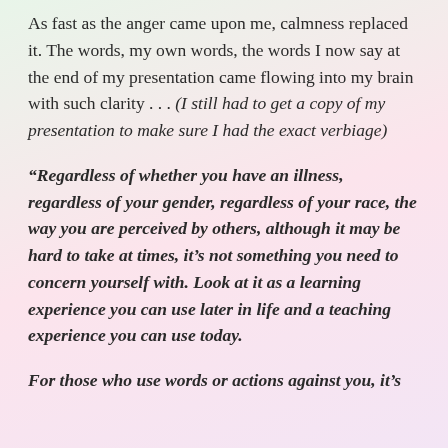As fast as the anger came upon me, calmness replaced it. The words, my own words, the words I now say at the end of my presentation came flowing into my brain with such clarity . . . (I still had to get a copy of my presentation to make sure I had the exact verbiage)
“Regardless of whether you have an illness, regardless of your gender, regardless of your race, the way you are perceived by others, although it may be hard to take at times, it’s not something you need to concern yourself with. Look at it as a learning experience you can use later in life and a teaching experience you can use today.
For those who use words or actions against you, it’s